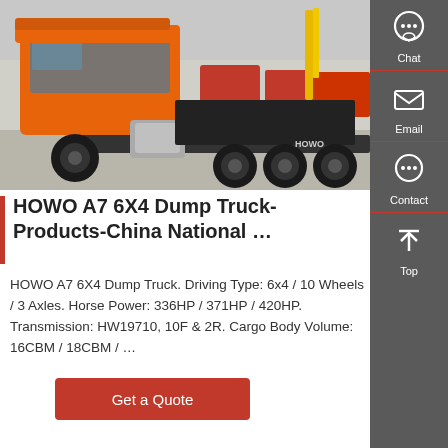[Figure (photo): Orange HOWO A7 6x4 dump truck chassis at a vehicle exhibition yard, rear-side view, with other red trucks in the background.]
HOWO A7 6X4 Dump Truck-Products-China National …
HOWO A7 6X4 Dump Truck. Driving Type: 6x4 / 10 Wheels / 3 Axles. Horse Power: 336HP / 371HP / 420HP. Transmission: HW19710, 10F & 2R. Cargo Body Volume: 16CBM / 18CBM / …
Get a Quote